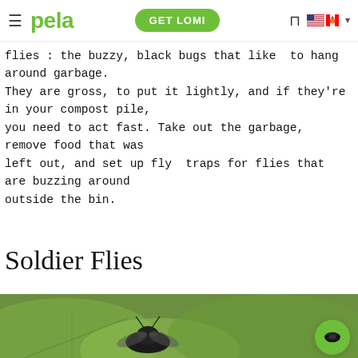pela — GET LOMI
flies : the buzzy, black bugs that like to hang around garbage. They are gross, to put it lightly, and if they're in your compost pile, you need to act fast. Take out the garbage, remove food that was left out, and set up fly traps for flies that are buzzing around outside the bin.
Soldier Flies
[Figure (photo): Close-up macro photo of a black soldier fly resting on a green leaf, with a chat bubble overlay saying 'Hey, got any questions? Chat with us!' and a green chat button in the bottom right corner.]